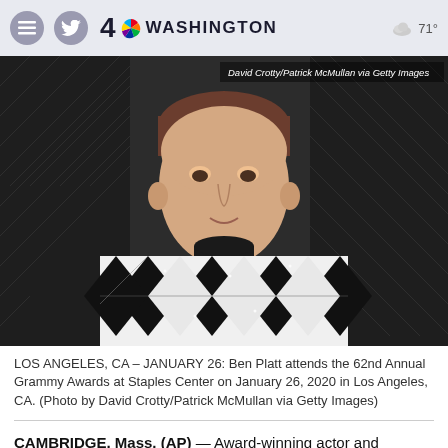NBC4 Washington | 71°
[Figure (photo): Ben Platt in a black and white argyle patterned jacket with black turtleneck, standing in front of Grammy trophies at the 62nd Annual Grammy Awards. Photo credit: David Crotty/Patrick McMullan via Getty Images.]
LOS ANGELES, CA – JANUARY 26: Ben Platt attends the 62nd Annual Grammy Awards at Staples Center on January 26, 2020 in Los Angeles, CA. (Photo by David Crotty/Patrick McMullan via Getty Images)
CAMBRIDGE, Mass. (AP) — Award-winning actor and